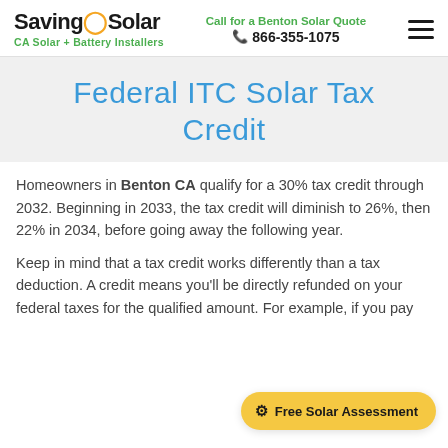SavingOnSolar — CA Solar + Battery Installers | Call for a Benton Solar Quote | 866-355-1075
Federal ITC Solar Tax Credit
Homeowners in Benton CA qualify for a 30% tax credit through 2032. Beginning in 2033, the tax credit will diminish to 26%, then 22% in 2034, before going away the following year.
Keep in mind that a tax credit works differently than a tax deduction. A credit means you'll be directly refunded on your federal taxes for the qualified amount. For example, if you pay